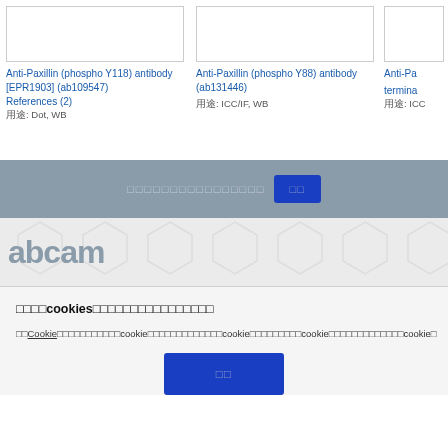Anti-Paxillin (phospho Y118) antibody [EPR1903] (ab109547) References (2) 用途: Dot, WB
Anti-Paxillin (phospho Y88) antibody (ab131446) 用途: ICC/IF, WB
Anti-Pa... termina... 用途: ICC
[Figure (screenshot): Pagination bar with placeholder text and blue button showing Japanese characters]
[Figure (logo): Abcam logo on hexagonal pattern background]
我们将cookies用于多种目的，包括网站分析。
我们的Cookie政策说明了我们使用cookie的方式，以及您如何管理cookie设置，以及我们如何使用cookie来改善您的网站体验，包括提供个性化内容。
接受